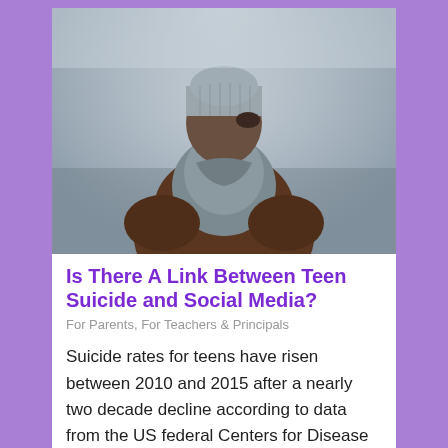[Figure (photo): A person seen from behind wearing a brown jacket and a grey knit beanie hat, standing in a foggy, muted outdoor environment.]
Is There A Link Between Teen Suicide and Social Media?
For Parents, For Teachers & Principals
Suicide rates for teens have risen between 2010 and 2015 after a nearly two decade decline according to data from the US federal Centers for Disease Control and Prevention (CDC). Why the rates went up